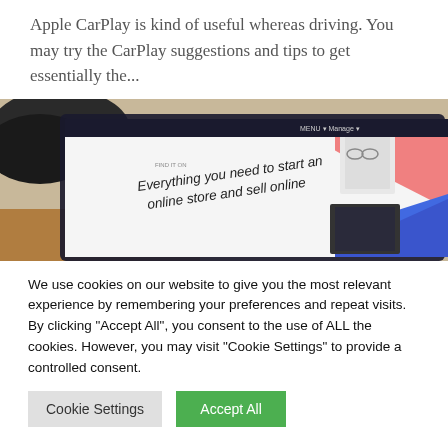Apple CarPlay is kind of useful whereas driving. You may try the CarPlay suggestions and tips to get essentially the...
[Figure (photo): A tablet or laptop screen showing a webpage with text 'Everything you need to start an online store and sell online', with colorful geometric shapes and product images visible on screen. The device rests on a wooden surface.]
We use cookies on our website to give you the most relevant experience by remembering your preferences and repeat visits. By clicking "Accept All", you consent to the use of ALL the cookies. However, you may visit "Cookie Settings" to provide a controlled consent.